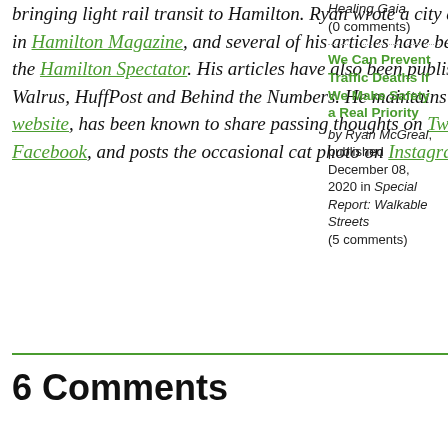bringing light rail transit to Hamilton. Ryan wrote a city affairs column in Hamilton Magazine, and several of his articles have been published in the Hamilton Spectator. His articles have also been published in The Walrus, HuffPost and Behind the Numbers. He maintains a personal website, has been known to share passing thoughts on Twitter and Facebook, and posts the occasional cat photo on Instagram.
Healing Gaia (0 comments)
We Can Prevent Traffic Deaths if We Make Safety a Real Priority by Ryan McGreal, published December 08, 2020 in Special Report: Walkable Streets (5 comments)
6 Comments